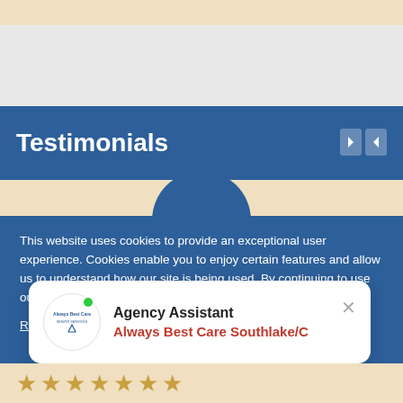Testimonials
This website uses cookies to provide an exceptional user experience. Cookies enable you to enjoy certain features and allow us to understand how our site is being used. By continuing to use our site, you consent to our use of cookies.
Read more "opens in a new window"
[Figure (screenshot): Agency Assistant popup with Always Best Care logo, green online dot, title 'Agency Assistant', subtitle 'Always Best Care Southlake/C' in orange/red, and an X close button]
[Figure (other): Row of star rating icons at the bottom of the page]